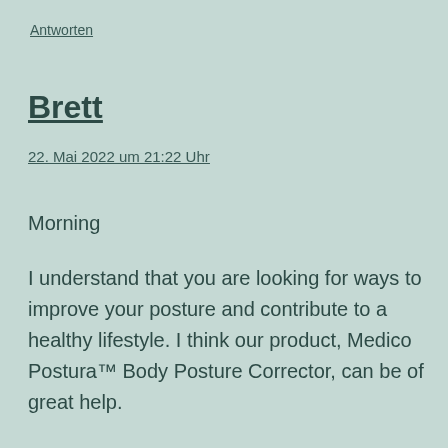Antworten
Brett
22. Mai 2022 um 21:22 Uhr
Morning
I understand that you are looking for ways to improve your posture and contribute to a healthy lifestyle. I think our product, Medico Postura™ Body Posture Corrector, can be of great help.